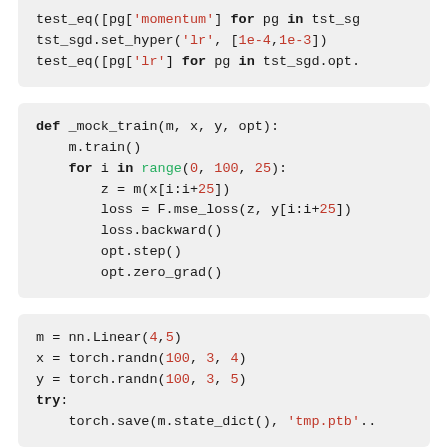tst_sgd.set_hyper('mom', 0.9)
test_eq([pg['momentum'] for pg in tst_sgd...
tst_sgd.set_hyper('lr', [1e-4,1e-3])
test_eq([pg['lr'] for pg in tst_sgd.opt....
def _mock_train(m, x, y, opt):
    m.train()
    for i in range(0, 100, 25):
        z = m(x[i:i+25])
        loss = F.mse_loss(z, y[i:i+25])
        loss.backward()
        opt.step()
        opt.zero_grad()
m = nn.Linear(4,5)
x = torch.randn(100, 3, 4)
y = torch.randn(100, 3, 5)
try:
    torch.save(m.state_dict(), 'tmp.ptb'...